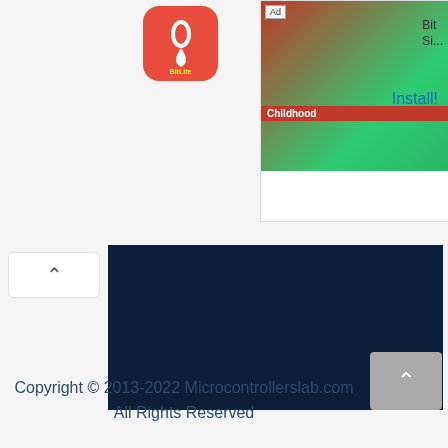[Figure (screenshot): Advertisement banner with BitLife app showing Childhood game screenshot and green background]
[Figure (screenshot): Dark navy blue video player area]
Copyright © 2013-2022 Microcontrollerslab.com All Rights Reserved